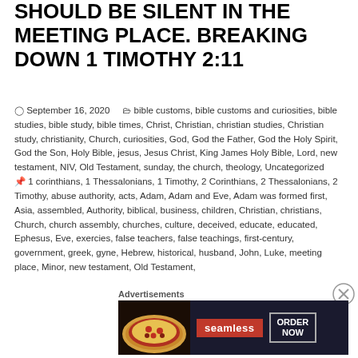SHOULD BE SILENT IN THE MEETING PLACE. BREAKING DOWN 1 TIMOTHY 2:11
September 16, 2020   bible customs, bible customs and curiosities, bible studies, bible study, bible times, Christ, Christian, christian studies, Christian study, christianity, Church, curiosities, God, God the Father, God the Holy Spirit, God the Son, Holy Bible, jesus, Jesus Christ, King James Holy Bible, Lord, new testament, NIV, Old Testament, sunday, the church, theology, Uncategorized   1 corinthians, 1 Thessalonians, 1 Timothy, 2 Corinthians, 2 Thessalonians, 2 Timothy, abuse authority, acts, Adam, Adam and Eve, Adam was formed first, Asia, assembled, Authority, biblical, business, children, Christian, christians, Church, church assembly, churches, culture, deceived, educate, educated, Ephesus, Eve, exercies, false teachers, false teachings, first-century, government, greek, gyne, Hebrew, historical, husband, John, Luke, meeting place, Minor, new testament, Old Testament,
Advertisements
[Figure (other): Seamless food delivery advertisement showing pizza on dark background with red Seamless logo and ORDER NOW button]